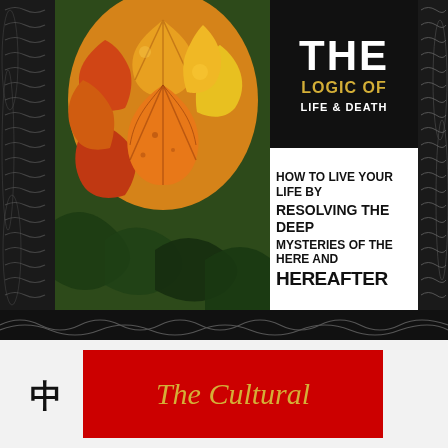[Figure (illustration): Book cover image with autumn maple leaves photo on left, black title box top-right with 'THE LOGIC OF LIFE & DEATH', subtitle text 'HOW TO LIVE YOUR LIFE BY RESOLVING THE DEEP MYSTERIES OF THE HERE AND HEREAFTER', decorative black borders with wave/scroll patterns]
THE LOGIC OF LIFE & DEATH
HOW TO LIVE YOUR LIFE BY RESOLVING THE DEEP MYSTERIES OF THE HERE AND HEREAFTER
The Cultural